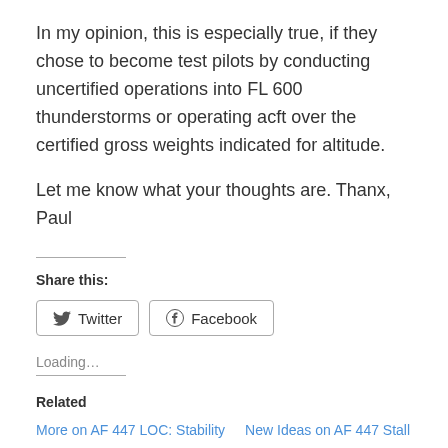In my opinion, this is especially true, if they chose to become test pilots by conducting uncertified operations into FL 600 thunderstorms or operating acft over the certified gross weights indicated for altitude.
Let me know what your thoughts are. Thanx, Paul
Share this:
Twitter Facebook
Loading…
Related
More on AF 447 LOC: Stability	New Ideas on AF 447 Stall